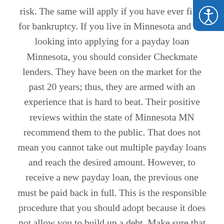risk. The same will apply if you have ever filed for bankruptcy. If you live in Minnesota and are looking into applying for a payday loan Minnesota, you should consider Checkmate lenders. They have been on the market for the past 20 years; thus, they are armed with an experience that is hard to beat. Their positive reviews within the state of Minnesota MN recommend them to the public. That does not mean you cannot take out multiple payday loans and reach the desired amount. However, to receive a new payday loan, the previous one must be paid back in full. This is the responsible procedure that you should adopt because it does not allow you to build up a debt. Make sure that you do not request